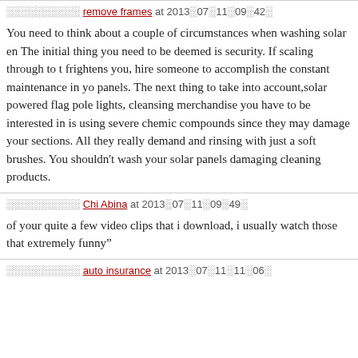░░░░░░░░░░ remove frames at 2013▒07▒11▒09▒42▒
You need to think about a couple of circumstances when washing solar en... The initial thing you need to be deemed is security. If scaling through to t... frightens you, hire someone to accomplish the constant maintenance in yo... panels. The next thing to take into account,solar powered flag pole lights,... cleansing merchandise you have to be interested in is using severe chemic... compounds since they may damage your sections. All they really demand... and rinsing with just a soft brushes. You shouldn't wash your solar panels... damaging cleaning products.
░░░░░░░░░░ Chi Abina at 2013▒07▒11▒09▒49▒
of your quite a few video clips that i download, i usually watch those that... extremely funny"
░░░░░░░░░░ auto insurance at 2013▒07▒11▒11▒06▒